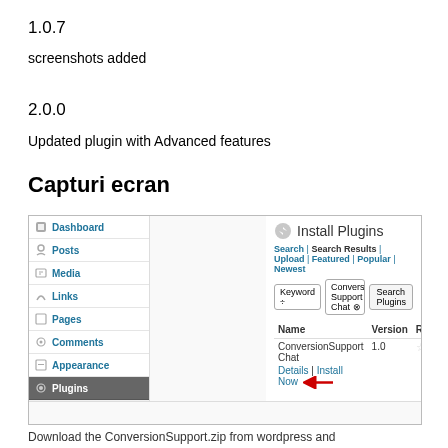1.0.7
screenshots added
2.0.0
Updated plugin with Advanced features
Capturi ecran
[Figure (screenshot): WordPress admin Install Plugins screen showing ConversionSupport Chat plugin search result with Details and Install Now links, with a red arrow pointing to Install Now]
Download the ConversionSupport.zip from wordpress and